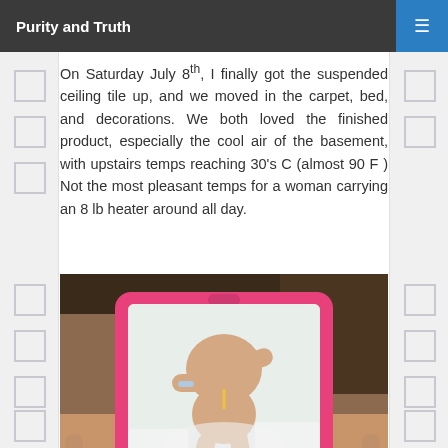Purity and Truth
On Saturday July 8th, I finally got the suspended ceiling tile up, and we moved in the carpet, bed, and decorations. We both loved the finished product, especially the cool air of the basement, with upstairs temps reaching 30's C (almost 90 F ) Not the most pleasant temps for a woman carrying an 8 lb heater around all day.
[Figure (photo): A person holding a pink tablet/iPad case displaying a photo of a newborn baby lying on white fabric with hospital wristbands.]